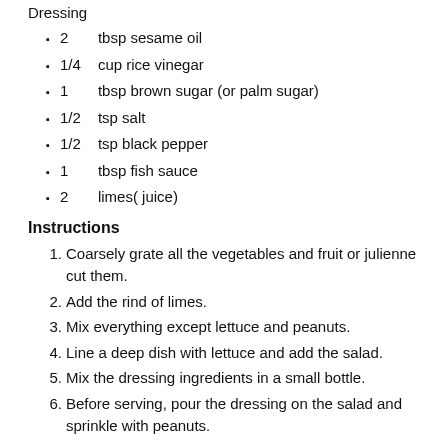Dressing
2   tbsp sesame oil
1/4   cup rice vinegar
1   tbsp brown sugar (or palm sugar)
1/2   tsp salt
1/2   tsp black pepper
1   tbsp fish sauce
2   limes( juice)
Instructions
1. Coarsely grate all the vegetables and fruit or julienne cut them.
2. Add the rind of limes.
3. Mix everything except lettuce and peanuts.
4. Line a deep dish with lettuce and add the salad.
5. Mix the dressing ingredients in a small bottle.
6. Before serving, pour the dressing on the salad and sprinkle with peanuts.